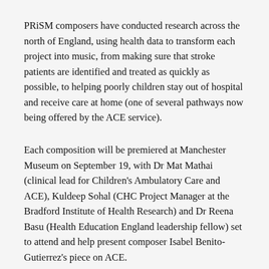PRiSM composers have conducted research across the north of England, using health data to transform each project into music, from making sure that stroke patients are identified and treated as quickly as possible, to helping poorly children stay out of hospital and receive care at home (one of several pathways now being offered by the ACE service).
Each composition will be premiered at Manchester Museum on September 19, with Dr Mat Mathai (clinical lead for Children's Ambulatory Care and ACE), Kuldeep Sohal (CHC Project Manager at the Bradford Institute of Health Research) and Dr Reena Basu (Health Education England leadership fellow) set to attend and help present composer Isabel Benito-Gutierrez's piece on ACE.